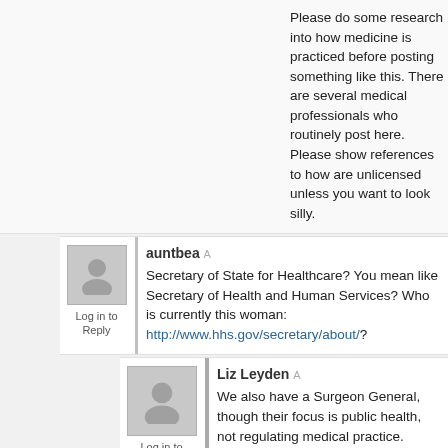Please do some research into how medicine is practiced before posting something like this. There are several medical professionals who routinely post here. Please show references to how are unlicensed unless you want to look silly.
auntbea
Secretary of State for Healthcare? You mean like Se Human Services? Who is currently this woman: http://www.hhs.gov/secretary/about/?
Log in to Reply
Liz Leyden
We also have a Surgeon General, though their f health, not regulating medical practice.
Log in to Reply
auntbea
Yeah. He's under HHS.
Log in to Reply